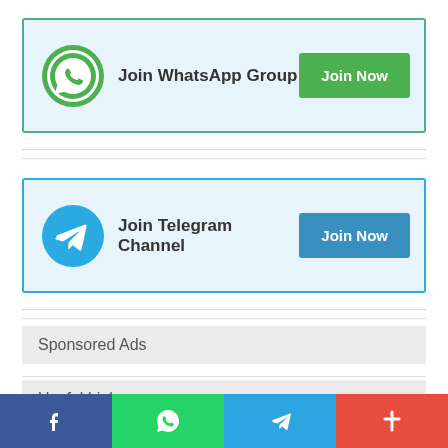[Figure (infographic): WhatsApp group join banner with green WhatsApp logo icon, bold text 'Join WhatsApp Group', and a green 'Join Now' button]
[Figure (infographic): Telegram channel join banner with blue Telegram logo icon, bold text 'Join Telegram Channel', and a blue 'Join Now' button]
Sponsored Ads
Useful Links
[Figure (infographic): Bottom social media share bar with four colored sections: Facebook (dark blue), WhatsApp (green), Telegram (blue), More/Plus (red-orange)]